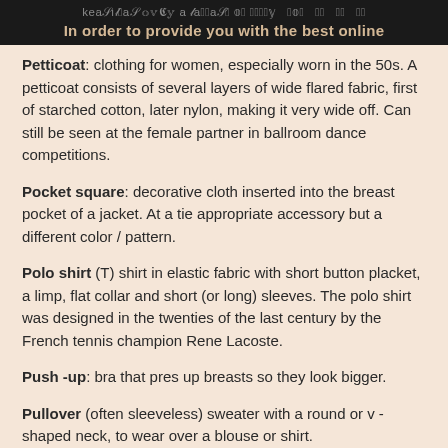In order to provide you with the best online
Petticoat: clothing for women, especially worn in the 50s. A petticoat consists of several layers of wide flared fabric, first of starched cotton, later nylon, making it very wide off. Can still be seen at the female partner in ballroom dance competitions.
Pocket square: decorative cloth inserted into the breast pocket of a jacket. At a tie appropriate accessory but a different color / pattern.
Polo shirt (T) shirt in elastic fabric with short button placket, a limp, flat collar and short (or long) sleeves. The polo shirt was designed in the twenties of the last century by the French tennis champion Rene Lacoste.
Push -up: bra that pres up breasts so they look bigger.
Pullover (often sleeveless) sweater with a round or v - shaped neck, to wear over a blouse or shirt.
Reform dress: straight, wide dress, which is only fastened with straps on the shoulders. The dress has no waist and was in his time (circa 1910) not very popular.
Robe: long woman dress, frock.